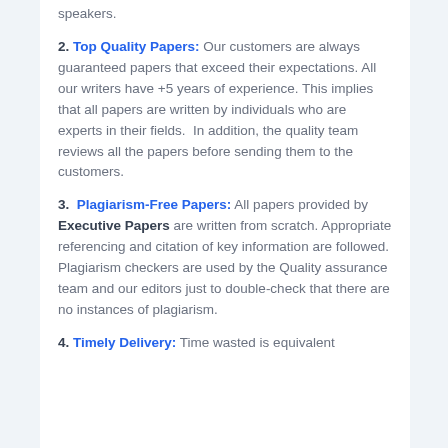speakers.
2. Top Quality Papers: Our customers are always guaranteed papers that exceed their expectations. All our writers have +5 years of experience. This implies that all papers are written by individuals who are experts in their fields.  In addition, the quality team reviews all the papers before sending them to the customers.
3. Plagiarism-Free Papers: All papers provided by Executive Papers are written from scratch. Appropriate referencing and citation of key information are followed. Plagiarism checkers are used by the Quality assurance team and our editors just to double-check that there are no instances of plagiarism.
4. Timely Delivery: Time wasted is equivalent